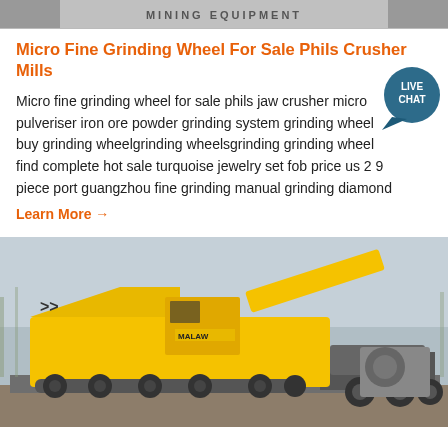[Figure (photo): Top banner image with 'MINING EQUIPMENT' text on a grey background]
Micro Fine Grinding Wheel For Sale Phils Crusher Mills
Micro fine grinding wheel for sale phils jaw crusher micro pulveriser iron ore powder grinding system grinding wheel buy grinding wheelgrinding wheelsgrinding grinding wheel find complete hot sale turquoise jewelry set fob price us 2 9 piece port guangzhou fine grinding manual grinding diamond
Learn More →
[Figure (photo): Large yellow mobile crusher/mining machine (Wirtgen or similar brand) on a flatbed truck, photographed outdoors with bare trees in background]